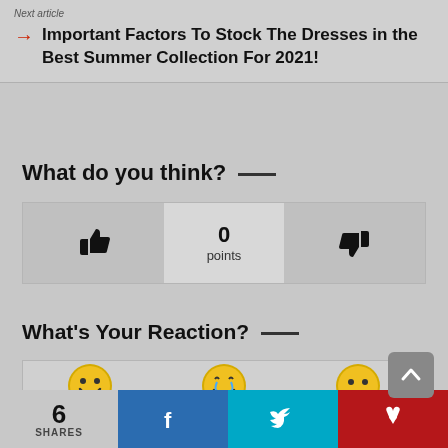Next article
Important Factors To Stock The Dresses in the Best Summer Collection For 2021!
What do you think?
[Figure (infographic): Vote widget with thumbs up icon on left, 0 points in center, thumbs down icon on right]
What's Your Reaction?
[Figure (infographic): Reaction emoji row showing three emoji faces partially visible]
6 SHARES | Facebook share | Twitter share | Pinterest share